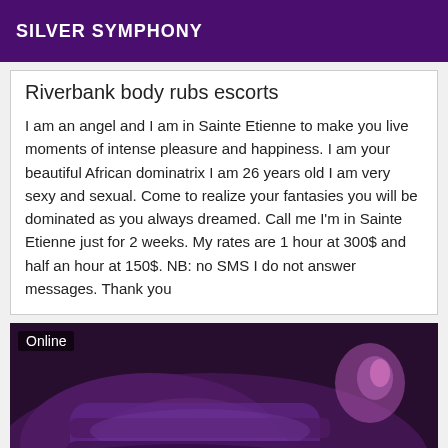SILVER SYMPHONY
Riverbank body rubs escorts
I am an angel and I am in Sainte Etienne to make you live moments of intense pleasure and happiness. I am your beautiful African dominatrix I am 26 years old I am very sexy and sexual. Come to realize your fantasies you will be dominated as you always dreamed. Call me I'm in Sainte Etienne just for 2 weeks. My rates are 1 hour at 300$ and half an hour at 150$. NB: no SMS I do not answer messages. Thank you
[Figure (photo): Photo of a person wearing purple lingerie, dark background, with Online badge overlay]